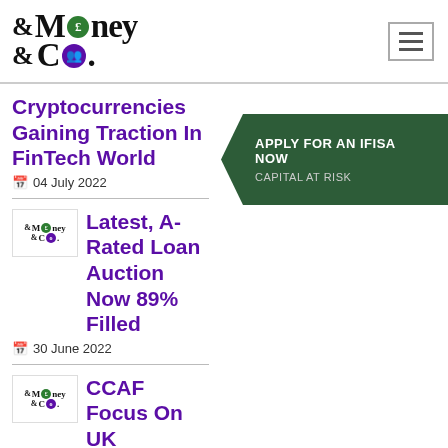Money &Co. logo and navigation
Cryptocurrencies Gaining Traction In FinTech World
04 July 2022
Latest, A-Rated Loan Auction Now 89% Filled
30 June 2022
CCAF Focus On UK
[Figure (infographic): Dark green chevron/arrow banner reading APPLY FOR AN IFISA NOW / CAPITAL AT RISK]